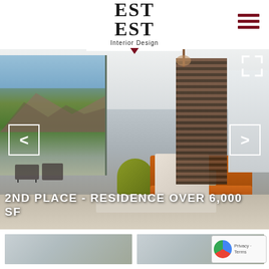[Figure (logo): Est Est Interior Design logo with dark red bar above text and small triangle below]
[Figure (illustration): Hamburger menu icon with three dark red horizontal bars]
[Figure (photo): Interior design photo of a modern luxury living room with orange sofa, green chair, wine wall, mountain view. Text overlay reads: 2ND PLACE - RESIDENCE OVER 6,000 SF. Navigation arrows on left and right, fullscreen icon top right.]
2ND PLACE - RESIDENCE OVER 6,000 SF
[Figure (photo): Thumbnail photo of interior room, left]
[Figure (photo): Thumbnail photo of interior room, right]